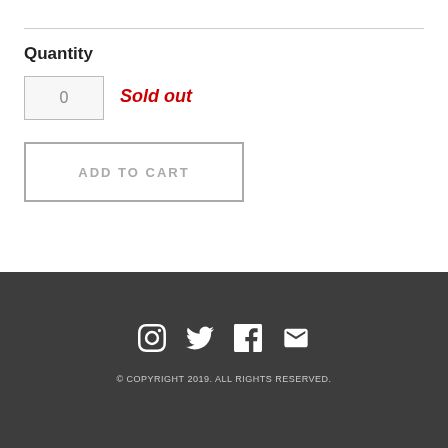Quantity
0
Sold out
ADD TO CART
[Figure (illustration): Social media icons: Instagram, Twitter, Facebook, Email]
© COPYRIGHT 2019. ALL RIGHTS RESERVED.